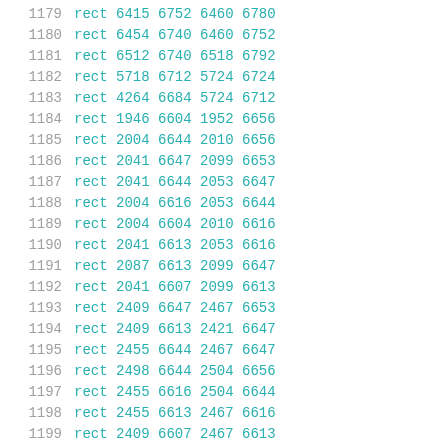| line | type | x1 | y1 | x2 | y2 |
| --- | --- | --- | --- | --- | --- |
| 1179 | rect | 6415 | 6752 | 6460 | 6780 |
| 1180 | rect | 6454 | 6740 | 6460 | 6752 |
| 1181 | rect | 6512 | 6740 | 6518 | 6792 |
| 1182 | rect | 5718 | 6712 | 5724 | 6724 |
| 1183 | rect | 4264 | 6684 | 5724 | 6712 |
| 1184 | rect | 1946 | 6604 | 1952 | 6656 |
| 1185 | rect | 2004 | 6644 | 2010 | 6656 |
| 1186 | rect | 2041 | 6647 | 2099 | 6653 |
| 1187 | rect | 2041 | 6644 | 2053 | 6647 |
| 1188 | rect | 2004 | 6616 | 2053 | 6644 |
| 1189 | rect | 2004 | 6604 | 2010 | 6616 |
| 1190 | rect | 2041 | 6613 | 2053 | 6616 |
| 1191 | rect | 2087 | 6613 | 2099 | 6647 |
| 1192 | rect | 2041 | 6607 | 2099 | 6613 |
| 1193 | rect | 2409 | 6647 | 2467 | 6653 |
| 1194 | rect | 2409 | 6613 | 2421 | 6647 |
| 1195 | rect | 2455 | 6644 | 2467 | 6647 |
| 1196 | rect | 2498 | 6644 | 2504 | 6656 |
| 1197 | rect | 2455 | 6616 | 2504 | 6644 |
| 1198 | rect | 2455 | 6613 | 2467 | 6616 |
| 1199 | rect | 2409 | 6607 | 2467 | 6613 |